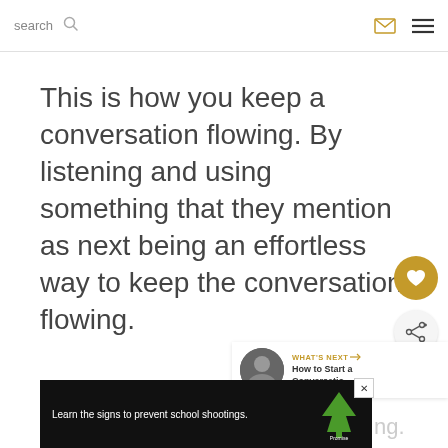search [search icon] [mail icon] [menu icon]
This is how you keep a conversation flowing. By listening and using something that they mention as next being an effortless way to keep the conversation flowing.
[Figure (other): Heart favorite button (gold circle with heart icon)]
[Figure (other): Share button (light circle with share icon)]
[Figure (other): What's Next widget with thumbnail image, label 'WHAT'S NEXT →' and title 'How to Start a Conversatio...']
Good conversations are always give
[Figure (other): Advertisement banner: 'Learn the signs to prevent school shootings.' with Sandy Hook Promise logo on dark background, with close button]